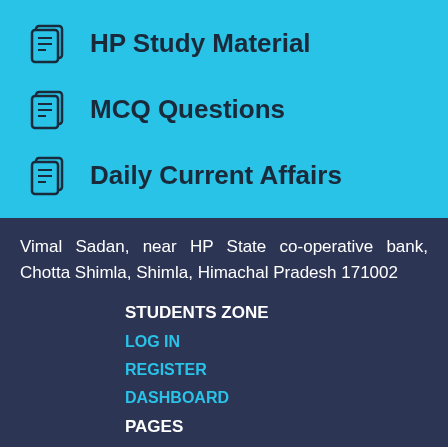HP Study Material
MCQ Questions
Daily Current Affairs
Vimal Sadan, near HP State co-operative bank, Chotta Shimla, Shimla, Himachal Pradesh 171002
STUDENTS ZONE
LOG IN
REGISTER
DASHBOARD
PAGES